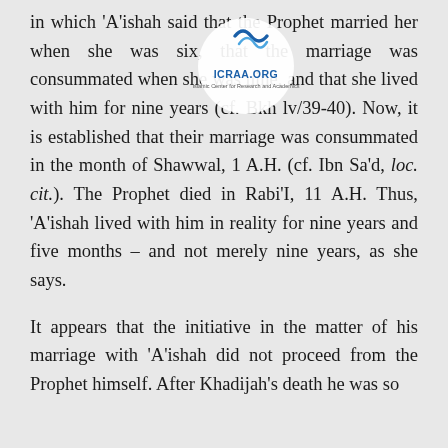in which 'A'ishah said that the Prophet married her when she was six, that the marriage was consummated when she was nine, and that she lived with him for nine years (cf. Bkh lv/39-40). Now, it is established that their marriage was consummated in the month of Shawwal, 1 A.H. (cf. Ibn Sa'd, loc. cit.). The Prophet died in Rabi'I, 11 A.H. Thus, 'A'ishah lived with him in reality for nine years and five months – and not merely nine years, as she says.
It appears that the initiative in the matter of his marriage with 'A'ishah did not proceed from the Prophet himself. After Khadijah's death he was so